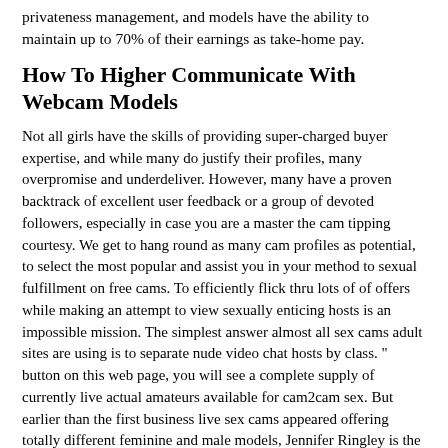privateness management, and models have the ability to maintain up to 70% of their earnings as take-home pay.
How To Higher Communicate With Webcam Models
Not all girls have the skills of providing super-charged buyer expertise, and while many do justify their profiles, many overpromise and underdeliver. However, many have a proven backtrack of excellent user feedback or a group of devoted followers, especially in case you are a master the cam tipping courtesy. We get to hang round as many cam profiles as potential, to select the most popular and assist you in your method to sexual fulfillment on free cams. To efficiently flick thru lots of of offers while making an attempt to view sexually enticing hosts is an impossible mission. The simplest answer almost all sex cams adult sites are using is to separate nude video chat hosts by class. " button on this web page, you will see a complete supply of currently live actual amateurs available for cam2cam sex. But earlier than the first business live sex cams appeared offering totally different feminine and male models, Jennifer Ringley is the one who launched live streaming of her private moments.
">